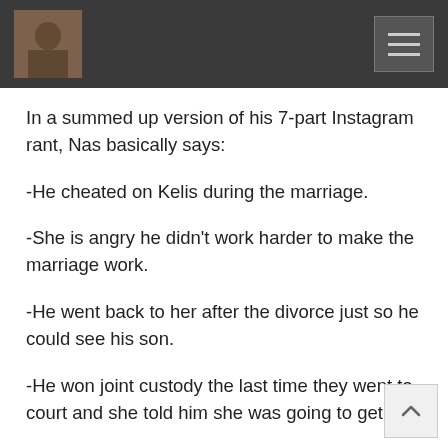[Figure (screenshot): Dark navigation header bar with a profile photo thumbnail on the left and a hamburger menu button on the right]
In a summed up version of his 7-part Instagram rant, Nas basically says:
-He cheated on Kelis during the marriage.
-She is angry he didn't work harder to make the marriage work.
-He went back to her after the divorce just so he could see his son.
-He won joint custody the last time they went to court and she told him she was going to get him